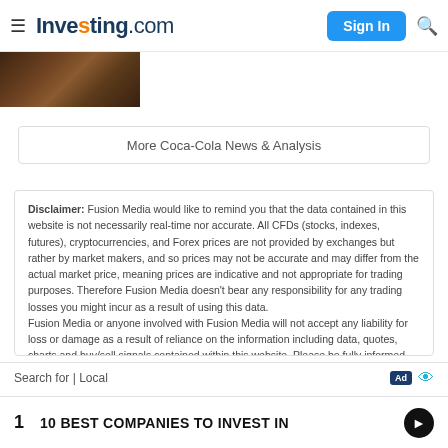☰ Investing.com  Sign In 🔍
[Figure (photo): Dark thumbnail image of a store or restaurant exterior]
More Coca-Cola News & Analysis
Disclaimer: Fusion Media would like to remind you that the data contained in this website is not necessarily real-time nor accurate. All CFDs (stocks, indexes, futures), cryptocurrencies, and Forex prices are not provided by exchanges but rather by market makers, and so prices may not be accurate and may differ from the actual market price, meaning prices are indicative and not appropriate for trading purposes. Therefore Fusion Media doesn't bear any responsibility for any trading losses you might incur as a result of using this data.
Fusion Media or anyone involved with Fusion Media will not accept any liability for loss or damage as a result of reliance on the information including data, quotes, charts and buy/sell signals contained within this website. Please be fully informed regarding the risks and costs associated with trading the financial markets, it is one of the riskiest investment forms possible.
Search for | Local
1   10 BEST COMPANIES TO INVEST IN  ▶